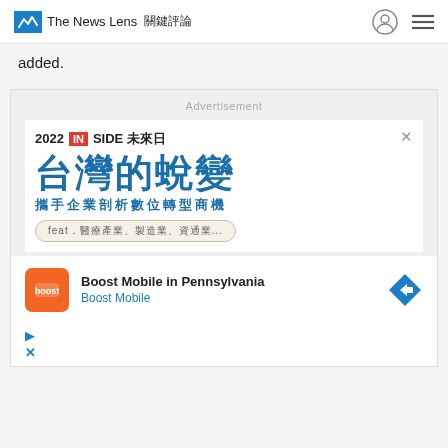The News Lens 關鍵評論
added.
[Figure (illustration): Advertisement banner: 2022 INSIDE未來日 — 台灣的蛻變 攜手企業剖析數位轉型商機 feat.醫療產業、製造業、資通業...]
[Figure (illustration): Boost Mobile in Pennsylvania advertisement with orange Boost Mobile logo icon and navigation arrow icon]